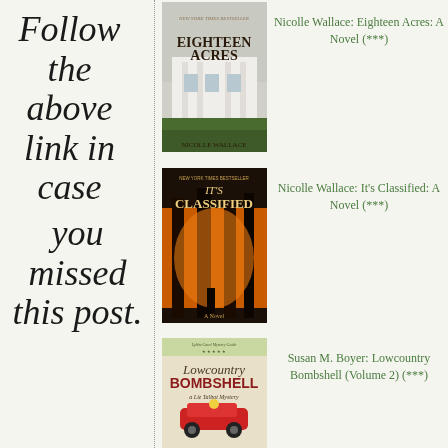Follow the above link in case
you missed this post.
[Figure (photo): Book cover: Eighteen Acres by Nicolle Wallace, New York Times Bestseller]
Nicolle Wallace: Eighteen Acres: A Novel (***)
[Figure (photo): Book cover: It's Classified by Nicolle Wallace, New York Times Bestseller]
Nicolle Wallace: It's Classified: A Novel (***)
[Figure (photo): Book cover: Lowcountry Bombshell by Susan M. Boyer, a Liz Talbot Mystery]
Susan M. Boyer: Lowcountry Bombshell (Volume 2) (***)